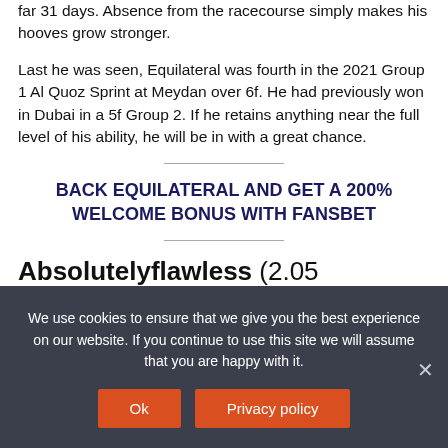far 31 days. Absence from the racecourse simply makes his hooves grow stronger.
Last he was seen, Equilateral was fourth in the 2021 Group 1 Al Quoz Sprint at Meydan over 6f. He had previously won in Dubai in a 5f Group 2. If he retains anything near the full level of his ability, he will be in with a great chance.
BACK EQUILATERAL AND GET A 200% WELCOME BONUS WITH FANSBET
Absolutelyflawless (2.05 Beverley) SP
We use cookies to ensure that we give you the best experience on our website. If you continue to use this site we will assume that you are happy with it.